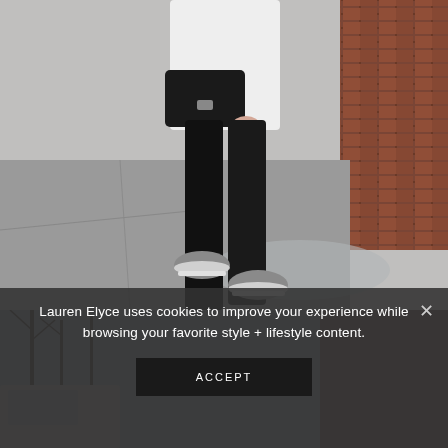[Figure (photo): Fashion blog photo showing a person from the waist down, wearing black leggings, gray slip-on sneakers, and carrying a quilted black clutch bag. Background shows a wet sidewalk and brick wall.]
[Figure (photo): Second fashion photo, partially obscured by cookie banner overlay. Shows street scene with bare trees and building in background, darker and blurred.]
Lauren Elyce uses cookies to improve your experience while browsing your favorite style + lifestyle content.
ACCEPT